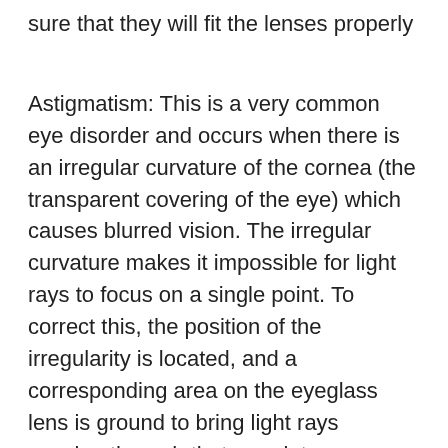sure that they will fit the lenses properly
Astigmatism: This is a very common eye disorder and occurs when there is an irregular curvature of the cornea (the transparent covering of the eye) which causes blurred vision. The irregular curvature makes it impossible for light rays to focus on a single point. To correct this, the position of the irregularity is located, and a corresponding area on the eyeglass lens is ground to bring light rays passing through that area into proper focus. You need this in order to have crisp sight without any blurs.
When these problems of myopia, hypo-myopia